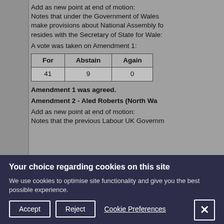Add as new point at end of motion: Notes that under the Government of Wales make provisions about National Assembly fo resides with the Secretary of State for Wale:
A vote was taken on Amendment 1:
| For | Abstain | Agaii |
| --- | --- | --- |
| 41 | 9 | 0 |
Amendment 1 was agreed.
Amendment 2 - Aled Roberts (North Wa Add as new point at end of motion: Notes that the previous Labour UK Governm
Your choice regarding cookies on this site
We use cookies to optimise site functionality and give you the best possible experience.